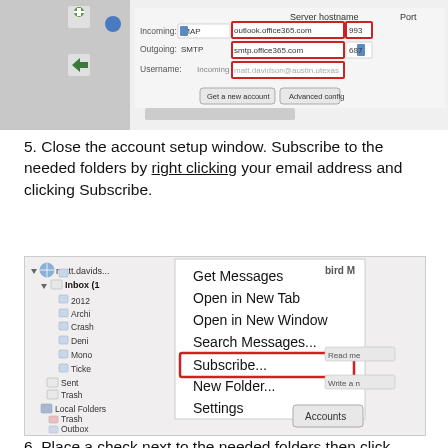[Figure (screenshot): Email account setup dialog showing IMAP/SMTP server settings with outlook.office365.com and smtp.office365.com highlighted in red boxes, port 993/687, username matt.davidson@austin.utexas]
5. Close the account setup window. Subscribe to the needed folders by right clicking your email address and clicking Subscribe.
[Figure (screenshot): Thunderbird email client showing a right-click context menu with options: Get Messages, Open in New Tab, Open in New Window, Search Messages..., Subscribe... (highlighted in red box), New Folder..., Settings. The folder tree shows matt.davids... with Inbox, 2012, Archi, Crash, Deni, Mono, Ticke, Sent, Trash, and Local Folders with Trash and Outbox. An Accounts button is visible.]
6. Place a check next to the needed folders then click "Subscribe"